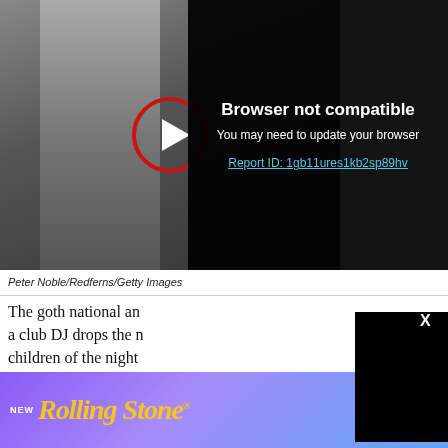[Figure (screenshot): Video player showing black and white photo of a person in a sweater with a play button circle overlay. Overlay panel shows 'Browser not compatible' error message with Report ID link.]
Peter Noble/Redferns/Getty Images
The goth national an a club DJ drops the n children of the night existed only a few w stretching out for nea post-punk, dub regg Murphy's sepulchr
[Figure (screenshot): Black modal overlay with X close button]
[Figure (screenshot): Rolling Stone magazine advertisement banner. NEW RollingStone - ON SALE SEP 5 - SUBSCRIBE button]